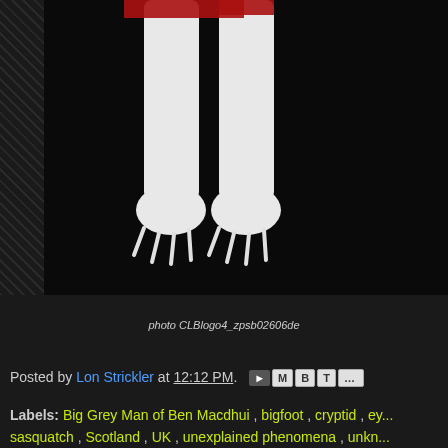[Figure (illustration): Book cover showing white creature claws/feet on black background with red text 'A Novel']
[Figure (logo): photo CLBlogo4_zpsb02606de - broken image placeholder]
Posted by Lon Strickler at 12:12 PM.
Labels: Big Grey Man of Ben Macdhui , bigfoot , cryptid , ey... sasquatch , Scotland , UK , unexplained phenomena , unkn...